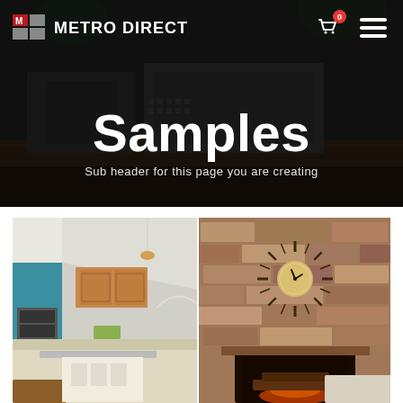METRO DIRECT
Samples
Sub header for this page you are creating
[Figure (photo): Hero banner background — dark photo of industrial wooden furniture/decor on a timber surface]
[Figure (photo): Left photo: modern kitchen interior with wood cabinets, stainless appliances, teal accent wall]
[Figure (photo): Right photo: rustic stone/brick wall with a sunburst clock and fireplace]